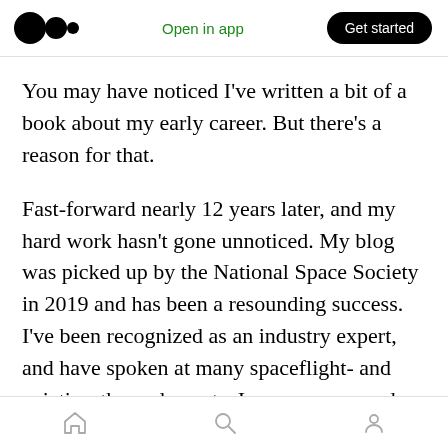Open in app | Get started
You may have noticed I’ve written a bit of a book about my early career. But there’s a reason for that.
Fast-forward nearly 12 years later, and my hard work hasn’t gone unnoticed. My blog was picked up by the National Space Society in 2019 and has been a resounding success. I’ve been recognized as an industry expert, and have spoken at many spaceflight- and aviation-themed events. I even was named one of the top 10 space influencers by the National Space Society in 2018, and I’ll
Home | Search | Profile